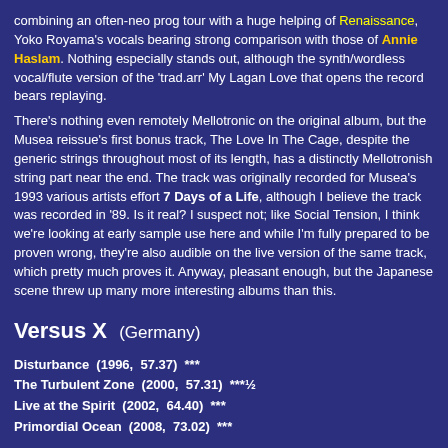combining an often-neo prog tour with a huge helping of Renaissance, Yoko Royama's vocals bearing strong comparison with those of Annie Haslam. Nothing especially stands out, although the synth/wordless vocal/flute version of the 'trad.arr' My Lagan Love that opens the record bears replaying.
There's nothing even remotely Mellotronic on the original album, but the Musea reissue's first bonus track, The Love In The Cage, despite the generic strings throughout most of its length, has a distinctly Mellotronish string part near the end. The track was originally recorded for Musea's 1993 various artists effort 7 Days of a Life, although I believe the track was recorded in '89. Is it real? I suspect not; like Social Tension, I think we're looking at early sample use here and while I'm fully prepared to be proven wrong, they're also audible on the live version of the same track, which pretty much proves it. Anyway, pleasant enough, but the Japanese scene threw up many more interesting albums than this.
Versus X  (Germany)
Disturbance  (1996,  57.37)  ***
The Turbulent Zone  (2000,  57.31)  ***½
Live at the Spirit  (2002,  64.40)  ***
Primordial Ocean  (2008,  73.02)  ***
Versus X are a German prog outfit who I've seen lumped in with the prog metal crowd, although they're actually far more diverse than that. The influence is there, mainly in Arne Schäfer's guitar sound and his propensity for powerchords, while the music is less adventurous than it could've been and certainly less than the band believe it to be, but it still knocks the socks